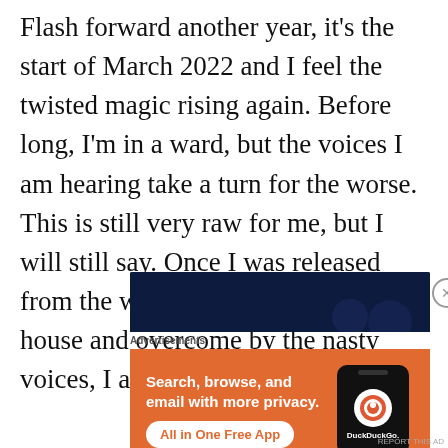Flash forward another year, it's the start of March 2022 and I feel the twisted magic rising again. Before long, I'm in a ward, but the voices I am hearing take a turn for the worse. This is still very raw for me, but I will still say. Once I was released from the ward, being alone in the house and overcome by the nasty voices, I attempted su*c*de.
[Figure (screenshot): DuckDuckGo advertisement banner with dark blue top bar and orange lower section. Text reads: 'Search, browse, and email with more privacy. All in One Free App' with DuckDuckGo logo and phone illustration.]